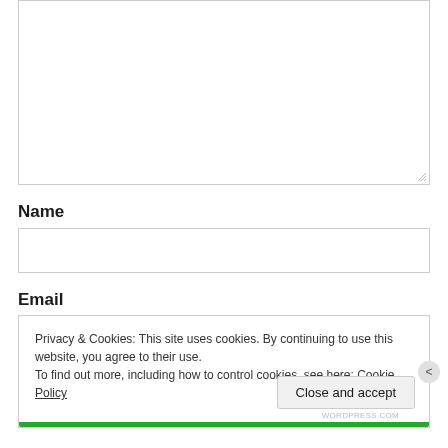[Figure (screenshot): Empty textarea input box with resize handle in bottom-right corner]
Name
[Figure (screenshot): Empty single-line text input field for Name]
Email
Privacy & Cookies: This site uses cookies. By continuing to use this website, you agree to their use.
To find out more, including how to control cookies, see here: Cookie Policy
Close and accept